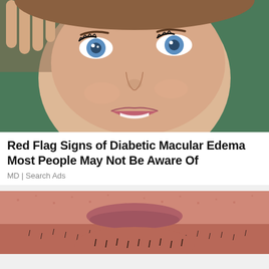[Figure (photo): Close-up photo of a woman's face with blue eyes, hand near head, slightly smiling, green background]
Red Flag Signs of Diabetic Macular Edema Most People May Not Be Aware Of
MD | Search Ads
[Figure (photo): Close-up photo of a man's lower face showing cheek, chin, and stubble on skin with red/pink complexion]